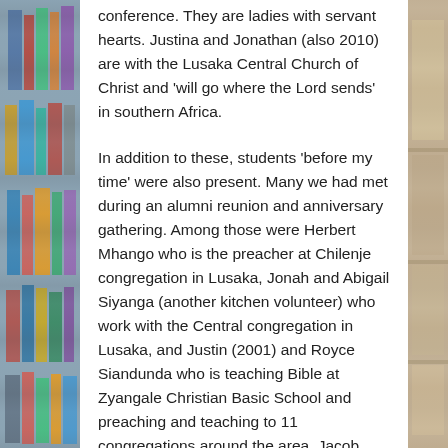conference. They are ladies with servant hearts. Justina and Jonathan (also 2010) are with the Lusaka Central Church of Christ and 'will go where the Lord sends' in southern Africa.
In addition to these, students 'before my time' were also present. Many we had met during an alumni reunion and anniversary gathering. Among those were Herbert Mhango who is the preacher at Chilenje congregation in Lusaka, Jonah and Abigail Siyanga (another kitchen volunteer) who work with the Central congregation in Lusaka, and Justin (2001) and Royce Siandunda who is teaching Bible at Zyangale Christian Basic School and preaching and teaching to 11 congregations around the area. Jacob was also at the conference to talk about ministry with street kids. He operates a well-known orphanage in Livingstone and has just completed a doctorate from a university in India.